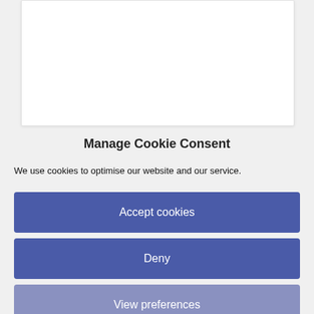[Figure (screenshot): White card area at top of page, partially visible, representing a web page content area behind a cookie consent modal overlay.]
Manage Cookie Consent
We use cookies to optimise our website and our service.
Accept cookies
Deny
View preferences